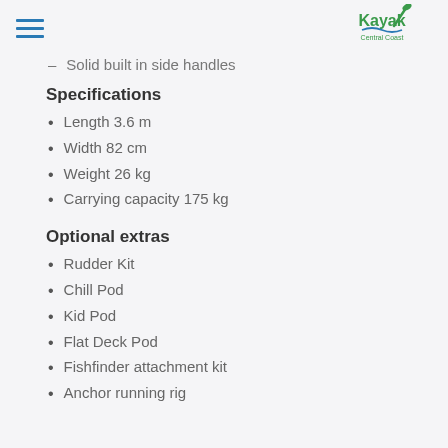Kayak Central Coast
Solid built in side handles
Specifications
Length 3.6 m
Width 82 cm
Weight 26 kg
Carrying capacity 175 kg
Optional extras
Rudder Kit
Chill Pod
Kid Pod
Flat Deck Pod
Fishfinder attachment kit
Anchor running rig